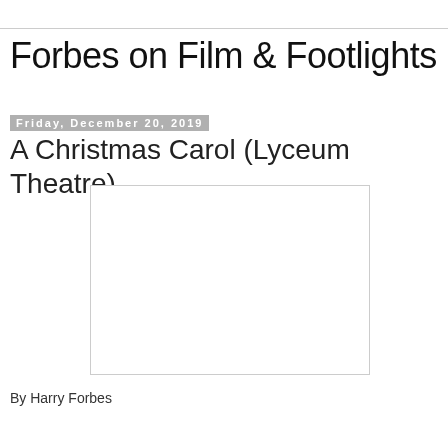Forbes on Film & Footlights
Friday, December 20, 2019
A Christmas Carol (Lyceum Theatre)
[Figure (photo): A blank/white image placeholder]
By Harry Forbes